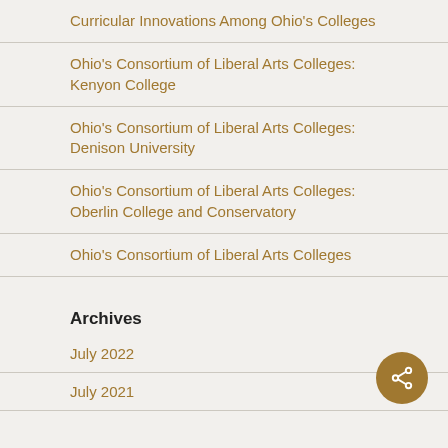Curricular Innovations Among Ohio's Colleges
Ohio's Consortium of Liberal Arts Colleges: Kenyon College
Ohio's Consortium of Liberal Arts Colleges: Denison University
Ohio's Consortium of Liberal Arts Colleges: Oberlin College and Conservatory
Ohio's Consortium of Liberal Arts Colleges
Archives
July 2022
July 2021